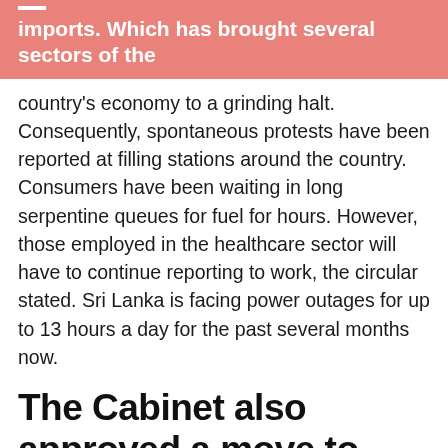imports. Which has brought several sectors of the
country's economy to a grinding halt. Consequently, spontaneous protests have been reported at filling stations around the country. Consumers have been waiting in long serpentine queues for fuel for hours. However, those employed in the healthcare sector will have to continue reporting to work, the circular stated. Sri Lanka is facing power outages for up to 13 hours a day for the past several months now.
The Cabinet also approved a move to grant government officials one leave per week for the next three months.
Furthermore, left blank in the image...